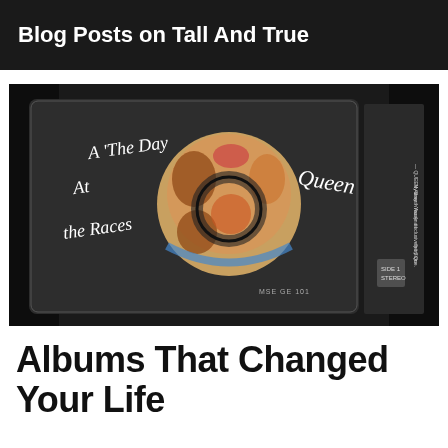Blog Posts on Tall And True
[Figure (photo): A Queen cassette tape for 'A Day At The Races' album, shown with its plastic case on a dark surface. The cassette case shows the iconic Queen crest artwork and the album title in cursive script. The spine shows track listing text including 'QUEEN Away', 'My Breath Away', 'You And I', 'exclusively by Qu', 'the Stone'. 'MSE GE 101' is printed on the case. The cassette itself shows 'SIDE 1 STEREO' and a Dolby noise reduction symbol.]
Albums That Changed Your Life